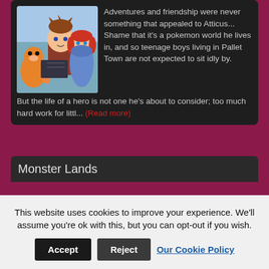[Figure (illustration): Anime-style illustration showing a teenage boy with spiky reddish-brown hair alongside a girl with red hair and a Charmander pokemon character]
Adventures and friendship were never something that appealed to Atticus... Shame that it's a pokemon world he lives in, and so teenage boys living in Pallet Town are not expected to sit idly by. But the life of a hero is not one he's about to consider; too much hard work for littl... (Read more)
Monster Lands
This website uses cookies to improve your experience. We'll assume you're ok with this, but you can opt-out if you wish.